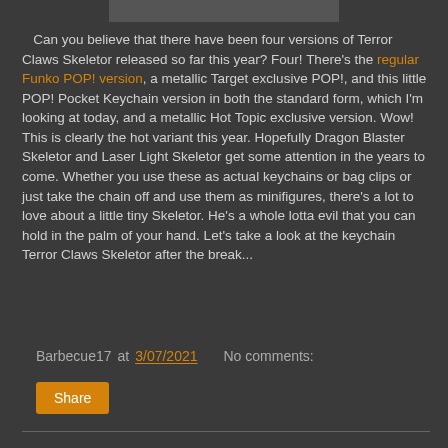[Figure (photo): Partial view of a product image at the top of the page]
Can you believe that there have been four versions of Terror Claws Skeletor released so far this year? Four! There's the regular Funko POP! version, a metallic Target exclusive POP!, and this little POP! Pocket Keychain version in both the standard form, which I'm looking at today, and a metallic Hot Topic exclusive version. Wow! This is clearly the hot variant this year. Hopefully Dragon Blaster Skeletor and Laser Light Skeletor get some attention in the years to come. Whether you use these as actual keychains or bag clips or just take the chain off and use them as minifigures, there's a lot to love about a little tiny Skeletor. He's a whole lotta evil that you can hold in the palm of your hand. Let's take a look at the keychain Terror Claws Skeletor after the break...
Barbecue17 at 3/07/2021   No comments:
Share